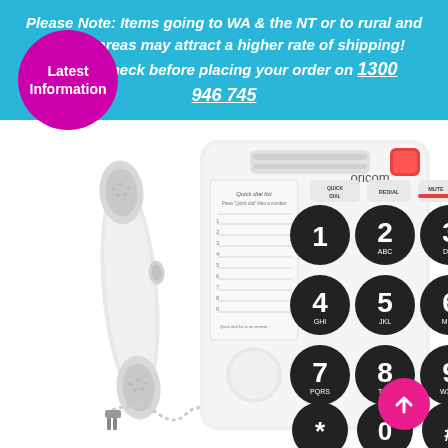Please Note: Items going to WA & the NT or to rural and remote areas may attract a higher rate of shipping! Please check before placing your order on 1300 946 745
[Figure (photo): Oricom big-button corded telephone with handset, large numeric keypad (1-9, *, 0, #), quick dial list card, QUICK DIAL / REDIAL / MUTE buttons, volume controls, and a red ringer light on top right. A magenta 'Latest Information' circle badge overlays the top-left. A pink up-arrow button is in the bottom-right corner.]